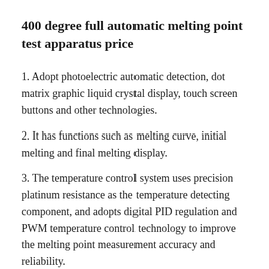400 degree full automatic melting point test apparatus price
1. Adopt photoelectric automatic detection, dot matrix graphic liquid crystal display, touch screen buttons and other technologies.
2. It has functions such as melting curve, initial melting and final melting display.
3. The temperature control system uses precision platinum resistance as the temperature detecting component, and adopts digital PID regulation and PWM temperature control technology to improve the melting point measurement accuracy and reliability.